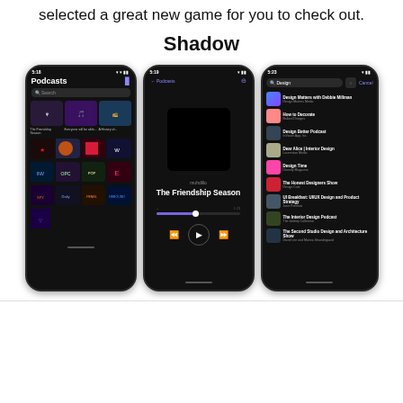selected a great new game for you to check out.
Shadow
[Figure (screenshot): Three iPhone screenshots showing a Podcasts app with dark UI. Left: Podcasts home screen with grid of podcast covers. Middle: Now playing screen showing 'The Friendship Season' with playback controls. Right: Search results screen showing 'Design' query with list of design-related podcasts.]